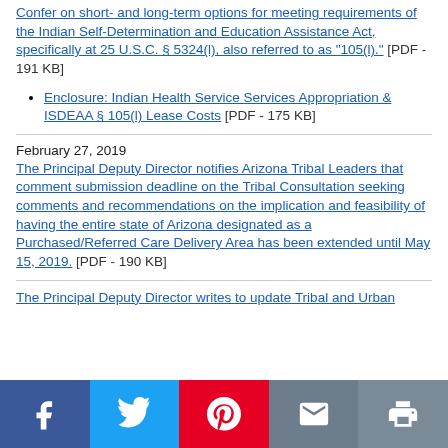Confer on short- and long-term options for meeting requirements of the Indian Self-Determination and Education Assistance Act, specifically at 25 U.S.C. § 5324(l), also referred to as "105(l)." [PDF - 191 KB]
Enclosure: Indian Health Service Services Appropriation & ISDEAA § 105(l) Lease Costs [PDF - 175 KB]
February 27, 2019
The Principal Deputy Director notifies Arizona Tribal Leaders that comment submission deadline on the Tribal Consultation seeking comments and recommendations on the implication and feasibility of having the entire state of Arizona designated as a Purchased/Referred Care Delivery Area has been extended until May 15, 2019. [PDF - 190 KB]
The Principal Deputy Director writes to update Tribal and Urban